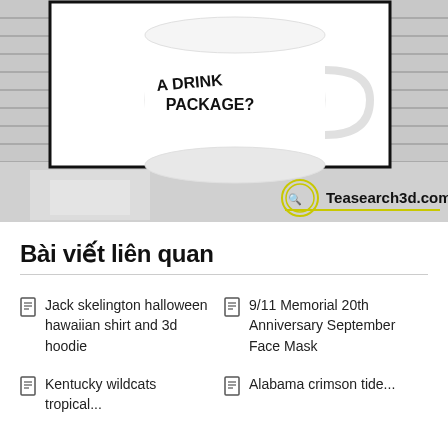[Figure (photo): Product photo of a white ceramic mug with text 'A DRINK PACKAGE?' printed on it, displayed against a grey brick wall and counter background. Bottom right shows Teasearch3d.com watermark logo.]
Bài viết liên quan
Jack skelington halloween hawaiian shirt and 3d hoodie
9/11 Memorial 20th Anniversary September Face Mask
Kentucky wildcats tropical...
Alabama crimson tide...